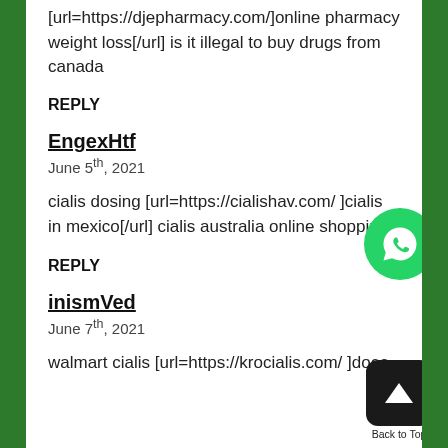[url=https://djepharmacy.com/]online pharmacy weight loss[/url] is it illegal to buy drugs from canada
REPLY
EngexHtf
June 5th, 2021
cialis dosing [url=https://cialishav.com/ ]cialis in mexico[/url] cialis australia online shopping
REPLY
inismVed
June 7th, 2021
walmart cialis [url=https://krocialis.com/ ]does
[Figure (other): WhatsApp floating button (green circle with WhatsApp icon)]
[Figure (other): Back to Top button (dark rounded square with up arrow, labeled Back to Top)]